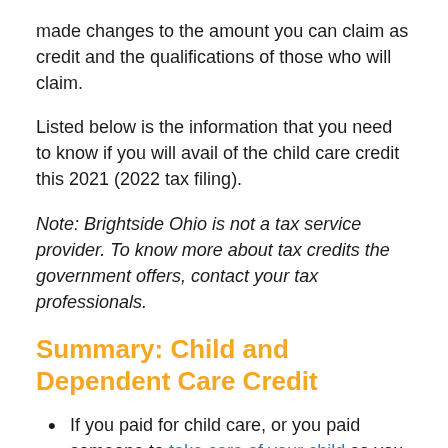made changes to the amount you can claim as credit and the qualifications of those who will claim.
Listed below is the information that you need to know if you will avail of the child care credit this 2021 (2022 tax filing).
Note: Brightside Ohio is not a tax service provider. To know more about tax credits the government offers, contact your tax professionals.
Summary: Child and Dependent Care Credit
If you paid for child care, or you paid someone to take care of your child so you can work, look for work, or study full time, you can qualify